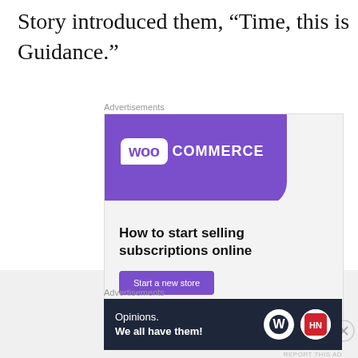Story introduced them, “Time, this is Guidance.”
[Figure (screenshot): WooCommerce advertisement banner: purple header with WooCommerce logo, teal triangle decoration, blue blob decoration, text 'How to start selling subscriptions online', purple 'Start a new store' button on light grey background]
[Figure (screenshot): WordPress advertisement banner: dark navy background with text 'Opinions. We all have them!' with WordPress logo and HN logo circles on right]